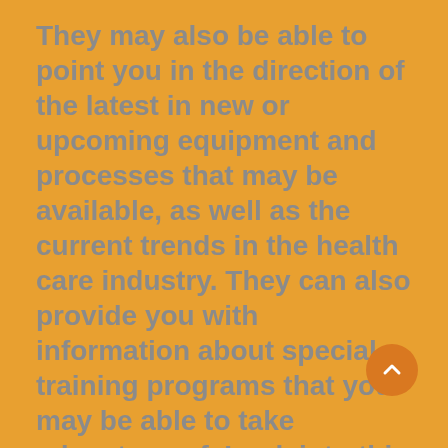They may also be able to point you in the direction of the latest in new or upcoming equipment and processes that may be available, as well as the current trends in the health care industry. They can also provide you with information about special training programs that you may be able to take advantage of. Look into this as well, as it may prove very beneficial.
Once you start researching a health care business, you will find that it is a complex undertaking. It can be daunting and it can seem very overwhelming at times. However,